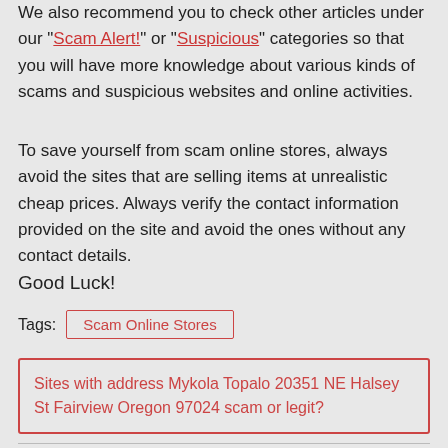We also recommend you to check other articles under our "Scam Alert!" or "Suspicious" categories so that you will have more knowledge about various kinds of scams and suspicious websites and online activities.
To save yourself from scam online stores, always avoid the sites that are selling items at unrealistic cheap prices. Always verify the contact information provided on the site and avoid the ones without any contact details.
Good Luck!
Tags:  Scam Online Stores
Sites with address Mykola Topalo 20351 NE Halsey St Fairview Oregon 97024 scam or legit?